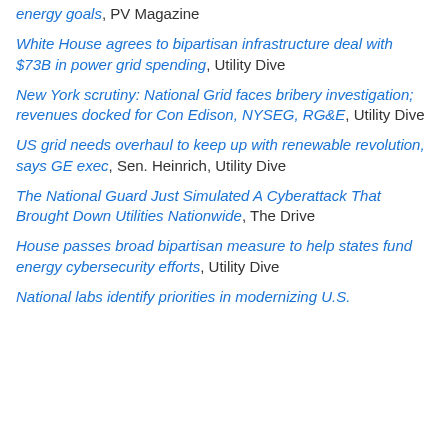energy goals, PV Magazine
White House agrees to bipartisan infrastructure deal with $73B in power grid spending, Utility Dive
New York scrutiny: National Grid faces bribery investigation; revenues docked for Con Edison, NYSEG, RG&E, Utility Dive
US grid needs overhaul to keep up with renewable revolution, says GE exec, Sen. Heinrich, Utility Dive
The National Guard Just Simulated A Cyberattack That Brought Down Utilities Nationwide, The Drive
House passes broad bipartisan measure to help states fund energy cybersecurity efforts, Utility Dive
National labs identify priorities in modernizing U.S.